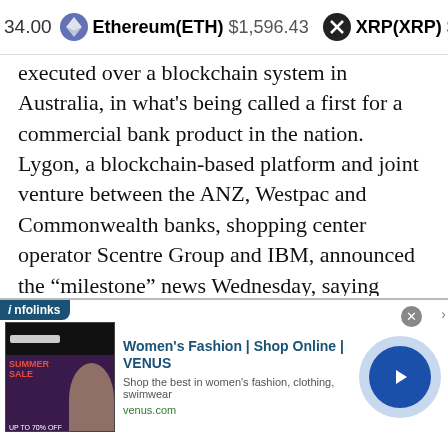34.00  Ethereum(ETH) $1,596.43  XRP(XRP) $0.331571
executed over a blockchain system in Australia, in what's being called a first for a commercial bank product in the nation. Lygon, a blockchain-based platform and joint venture between the ANZ, Westpac and Commonwealth banks, shopping center operator Scentre Group and IBM, announced the "milestone" news Wednesday, saying
... read more
[Figure (screenshot): Infolinks advertisement for Women's Fashion - Shop Online - VENUS. Shows a thumbnail image of a Summer Sale promotion with women's fashion clothing. Ad text reads: Women's Fashion | Shop Online | VENUS. Shop the best in women's fashion, clothing, swimwear. venus.com]